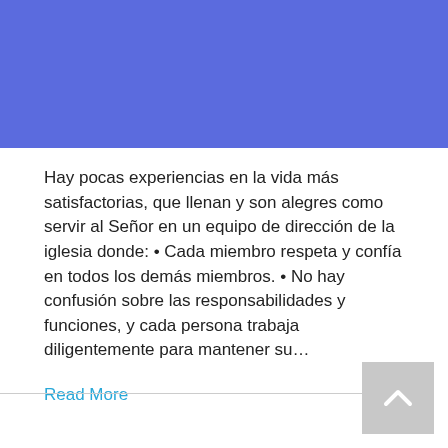[Figure (other): Blue/purple banner image at top of page]
Hay pocas experiencias en la vida más satisfactorias, que llenan y son alegres como servir al Señor en un equipo de dirección de la iglesia donde: • Cada miembro respeta y confía en todos los demás miembros. • No hay confusión sobre las responsabilidades y funciones, y cada persona trabaja    diligentemente para mantener su…
Read More